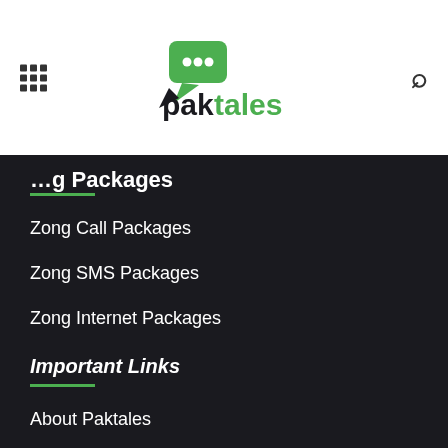[Figure (logo): Paktales logo with green speech bubble icon and text 'paktales']
…g Packages
Zong Call Packages
Zong SMS Packages
Zong Internet Packages
Important Links
About Paktales
Disclaimer